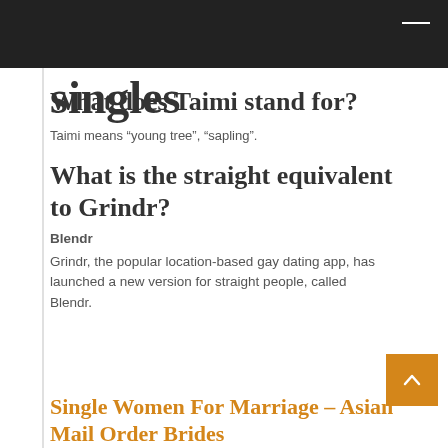asian female singles
What does Taimi stand for?
Taimi means “young tree”, “sapling”.
What is the straight equivalent to Grindr?
Blendr
Grindr, the popular location-based gay dating app, has launched a new version for straight people, called Blendr.
Single Women For Marriage – Asian Mail Order Brides